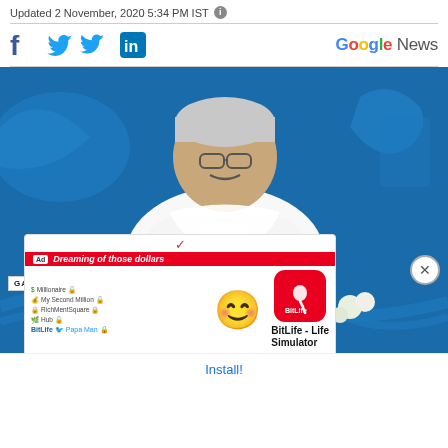Updated 2 November, 2020 5:34 PM IST ℹ
[Figure (infographic): Social media share icons: Facebook (f), Twitter bird, LinkedIn (in), and Google News logo]
[Figure (photo): Man in white kurta with white hair and glasses seated in a chair in front of a blue decorated backdrop, with nameplate reading GAJENDRA SHEKHAWAT. An advertisement overlay appears at the bottom for BitLife - Life Simulator app with a close button.]